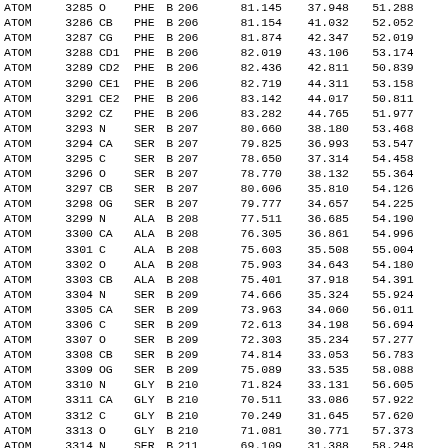|  |  |  |  |  |  |  |  |  |  |
| --- | --- | --- | --- | --- | --- | --- | --- | --- | --- |
| ATOM | 3285 | O | PHE | B | 206 | 81.145 | 37.948 | 51.288 |  |
| ATOM | 3286 | CB | PHE | B | 206 | 81.154 | 41.032 | 52.052 |  |
| ATOM | 3287 | CG | PHE | B | 206 | 81.874 | 42.347 | 52.019 |  |
| ATOM | 3288 | CD1 | PHE | B | 206 | 82.019 | 43.106 | 53.174 |  |
| ATOM | 3289 | CD2 | PHE | B | 206 | 82.436 | 42.811 | 50.839 |  |
| ATOM | 3290 | CE1 | PHE | B | 206 | 82.719 | 44.311 | 53.158 |  |
| ATOM | 3291 | CE2 | PHE | B | 206 | 83.142 | 44.017 | 50.811 |  |
| ATOM | 3292 | CZ | PHE | B | 206 | 83.282 | 44.765 | 51.977 |  |
| ATOM | 3293 | N | SER | B | 207 | 80.660 | 38.180 | 53.468 |  |
| ATOM | 3294 | CA | SER | B | 207 | 79.825 | 36.993 | 53.547 |  |
| ATOM | 3295 | C | SER | B | 207 | 78.650 | 37.314 | 54.458 |  |
| ATOM | 3296 | O | SER | B | 207 | 78.770 | 38.132 | 55.364 |  |
| ATOM | 3297 | CB | SER | B | 207 | 80.606 | 35.810 | 54.126 |  |
| ATOM | 3298 | OG | SER | B | 207 | 79.777 | 34.657 | 54.225 |  |
| ATOM | 3299 | N | ALA | B | 208 | 77.511 | 36.685 | 54.190 |  |
| ATOM | 3300 | CA | ALA | B | 208 | 76.305 | 36.861 | 54.996 |  |
| ATOM | 3301 | C | ALA | B | 208 | 75.603 | 35.508 | 55.004 |  |
| ATOM | 3302 | O | ALA | B | 208 | 75.903 | 34.643 | 54.180 |  |
| ATOM | 3303 | CB | ALA | B | 208 | 75.401 | 37.918 | 54.391 |  |
| ATOM | 3304 | N | SER | B | 209 | 74.666 | 35.324 | 55.924 |  |
| ATOM | 3305 | CA | SER | B | 209 | 73.963 | 34.060 | 56.011 |  |
| ATOM | 3306 | C | SER | B | 209 | 72.613 | 34.198 | 56.694 |  |
| ATOM | 3307 | O | SER | B | 209 | 72.303 | 35.234 | 57.277 |  |
| ATOM | 3308 | CB | SER | B | 209 | 74.814 | 33.053 | 56.783 |  |
| ATOM | 3309 | OG | SER | B | 209 | 75.089 | 33.535 | 58.088 |  |
| ATOM | 3310 | N | GLY | B | 210 | 71.824 | 33.131 | 56.605 |  |
| ATOM | 3311 | CA | GLY | B | 210 | 70.511 | 33.086 | 57.922 |  |
| ATOM | 3312 | C | GLY | B | 210 | 70.249 | 31.645 | 57.620 |  |
| ATOM | 3313 | O | GLY | B | 210 | 71.081 | 30.771 | 57.373 |  |
| ATOM | 3314 | N | SER | B | 211 | 69.109 | 31.388 | 58.248 |  |
| ATOM | 3315 | CA | SER | B | 211 | 68.760 | 30.032 | 58.652 |  |